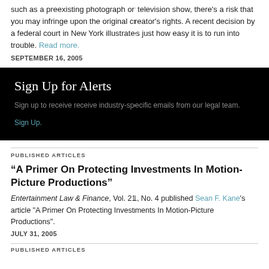such as a preexisting photograph or television show, there's a risk that you may infringe upon the original creator's rights. A recent decision by a federal court in New York illustrates just how easy it is to run into trouble. Read more.
SEPTEMBER 16, 2005
[Figure (other): Black promotional box with 'Sign Up for Alerts' heading, subtitle text 'Sign up to receive receive industry-specific emails from our legal team.' and a 'Sign Up.' link]
PUBLISHED ARTICLES
“A Primer On Protecting Investments In Motion-Picture Productions”
Entertainment Law & Finance, Vol. 21, No. 4 published Sean F. Kane's article "A Primer On Protecting Investments In Motion-Picture Productions".
JULY 31, 2005
PUBLISHED ARTICLES